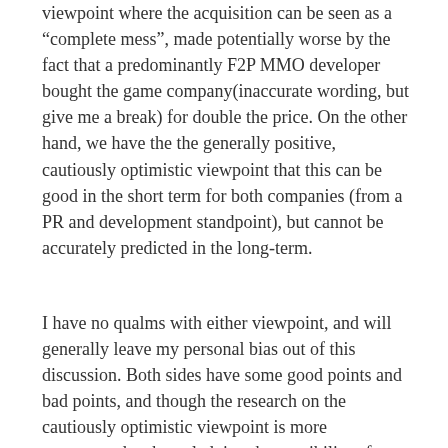viewpoint where the acquisition can be seen as a “complete mess”, made potentially worse by the fact that a predominantly F2P MMO developer bought the game company(inaccurate wording, but give me a break) for double the price. On the other hand, we have the the generally positive, cautiously optimistic viewpoint that this can be good in the short term for both companies (from a PR and development standpoint), but cannot be accurately predicted in the long-term.
I have no qualms with either viewpoint, and will generally leave my personal bias out of this discussion. Both sides have some good points and bad points, and though the research on the cautiously optimistic viewpoint is more pronounced, acknowledging the possibility of catastrophic failure on the part of Cryptic is